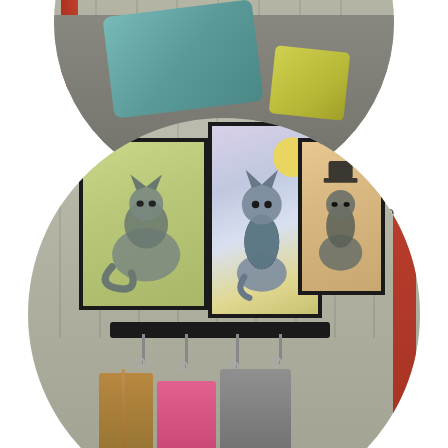[Figure (photo): Circular photo showing a cat sleeping area with teal/blue pillow and yellow-green pillow on a surface, viewed from above. Wood panel wall in background.]
Cat sleeping area. Only one cat uses it. The others prefer the rest of the house. All art is cat related. The smaller framed art is from artist Anne Rymer.
[Figure (photo): Circular photo showing a hallway wall with three framed cat paintings and a coat/bag hook rack below holding several bags and leashes.]